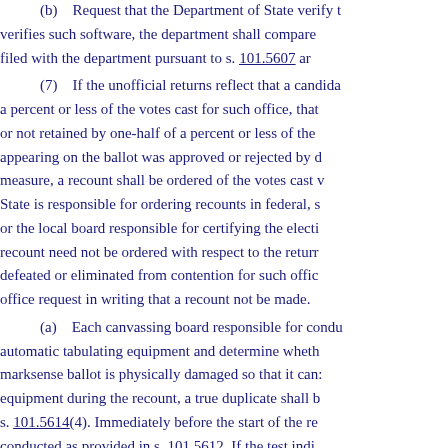(b) Request that the Department of State verify the software. If the department verifies such software, the department shall compare the result with the results filed with the department pursuant to s. 101.5607 and...
(7) If the unofficial returns reflect that a candidate received a percent or less of the votes cast for such office, that a candidate was or not retained by one-half of a percent or less of the ... appearing on the ballot was approved or rejected by one-half of a percent or less of the measure, a recount shall be ordered of the votes cast with respect to ... State is responsible for ordering recounts in federal, state ... or the local board responsible for certifying the election results ... recount need not be ordered with respect to the returns of any candidate defeated or eliminated from contention for such office ... office request in writing that a recount not be made.
(a) Each canvassing board responsible for conducting ... automatic tabulating equipment and determine whether ... marksense ballot is physically damaged so that it can ... equipment during the recount, a true duplicate shall be made pursuant to s. 101.5614(4). Immediately before the start of the recount, a test shall be conducted as provided in s. 101.5612. If the test indicates the equipment shall be presumed correct and such votes shall be canvassed ... therefor shall be ascertained and corrected and the recount ... immediately report the error, along with the cause of ... Department of State. No later than 11 days after the election...